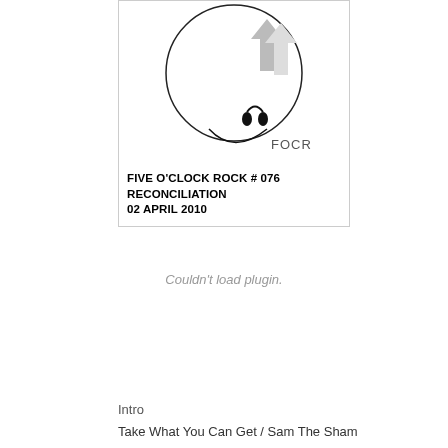[Figure (illustration): Album art for Five O'Clock Rock #076. Shows a circular graphic with headphones icon and FOCR text, with text below: FIVE O'CLOCK ROCK # 076 / RECONCILIATION / 02 APRIL 2010]
Couldn't load plugin.
Intro
Take What You Can Get / Sam The Sham